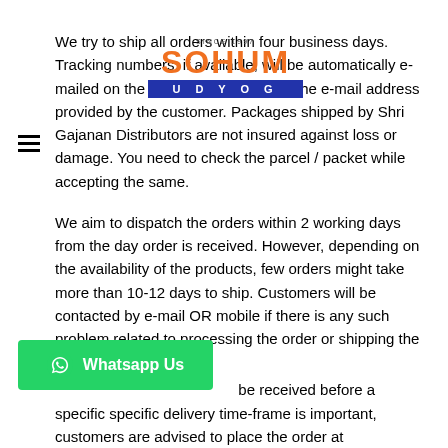[Figure (logo): Sohum Udyog logo with orange SOHUM text and blue UDYOG bar, since 1997]
We try to ship all orders within four business days. Tracking numbers, if available, will be automatically e-mailed on the day of the shipping to the e-mail address provided by the customer. Packages shipped by Shri Gajanan Distributors are not insured against loss or damage. You need to check the parcel / packet while accepting the same.
We aim to dispatch the orders within 2 working days from the day order is received. However, depending on the availability of the products, few orders might take more than 10-12 days to ship. Customers will be contacted by e-mail OR mobile if there is any such problem related to processing the order or shipping the product in time.
[Figure (other): Green WhatsApp Us button with WhatsApp icon]
be received before a specific specific delivery time-frame is important, customers are advised to place the order at